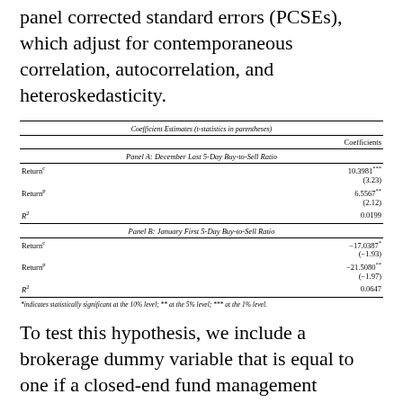panel corrected standard errors (PCSEs), which adjust for contemporaneous correlation, autocorrelation, and heteroskedasticity.
|  | Coefficients |
| --- | --- |
| Coefficient Estimates (t-statistics in parentheses) |  |
| Panel A: December Last 5-Day Buy-to-Sell Ratio |  |
| Return^c | 10.3981*** |
|  | (3.23) |
| Return^p | 6.5567** |
|  | (2.12) |
| R^2 | 0.0199 |
| Panel B: January First 5-Day Buy-to-Sell Ratio |  |
| Return^c | −17.0387* |
|  | (−1.93) |
| Return^p | −21.5080** |
|  | (−1.97) |
| R^2 | 0.0647 |
*indicates statistically significant at the 10% level; ** at the 5% level; *** at the 1% level.
To test this hypothesis, we include a brokerage dummy variable that is equal to one if a closed-end fund management